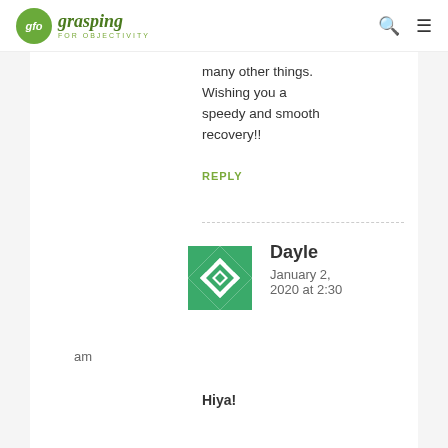gfo grasping FOR OBJECTIVITY
many other things. Wishing you a speedy and smooth recovery!!
REPLY
Dayle
January 2, 2020 at 2:30 am
Hiya!